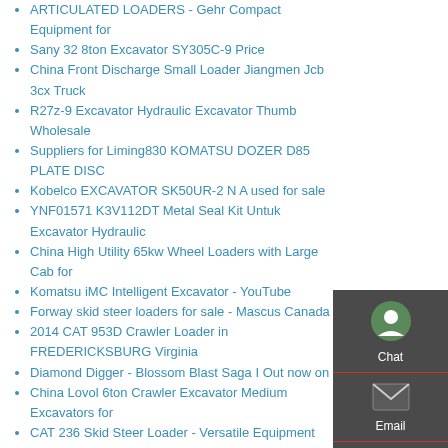ARTICULATED LOADERS - Gehr Compact Equipment for
Sany 32 8ton Excavator SY305C-9 Price
China Front Discharge Small Loader Jiangmen Jcb 3cx Truck
R27z-9 Excavator Hydraulic Excavator Thumb Wholesale
Suppliers for Liming830 KOMATSU DOZER D85 PLATE DISC
Kobelco EXCAVATOR SK50UR-2 N A used for sale
YNF01571 K3V112DT Metal Seal Kit Untuk Excavator Hydraulic
China High Utility 65kw Wheel Loaders with Large Cab for
Komatsu iMC Intelligent Excavator - YouTube
Forway skid steer loaders for sale - Mascus Canada
2014 CAT 953D Crawler Loader in FREDERICKSBURG Virginia
Diamond Digger - Blossom Blast Saga I Out now on
China Lovol 6ton Crawler Excavator Medium Excavators for
CAT 236 Skid Steer Loader - Versatile Equipment
caterpillar mini excavators Promotioneel
Tutorial Check Dozer Komatsu D31 Inspeksi Harian
Source Hydraulic wheel 936-35 HH942 mini backhoe loader
China Popular Sale Xc740K Skid Steer Loader - China Mini